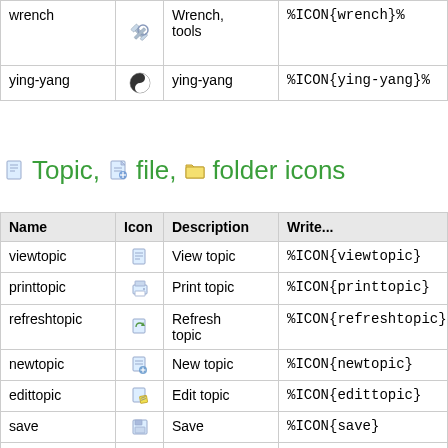| Name | Icon | Description | Write... |
| --- | --- | --- | --- |
| wrench | [wrench icon] | Wrench, tools | %ICON{wrench}% |
| ying-yang | [ying-yang icon] | ying-yang | %ICON{ying-yang}% |
Topic, file, folder icons
| Name | Icon | Description | Write... |
| --- | --- | --- | --- |
| viewtopic | [viewtopic icon] | View topic | %ICON{viewtopic}% |
| printtopic | [printtopic icon] | Print topic | %ICON{printtopic}% |
| refreshtopic | [refreshtopic icon] | Refresh topic | %ICON{refreshtopic}% |
| newtopic | [newtopic icon] | New topic | %ICON{newtopic}% |
| edittopic | [edittopic icon] | Edit topic | %ICON{edittopic}% |
| save | [save icon] | Save | %ICON{save}% |
| attachfile | [attachfile icon] | Attach file | %ICON{attachfile}% |
| download | [download icon] | Download | %ICON{download}% |